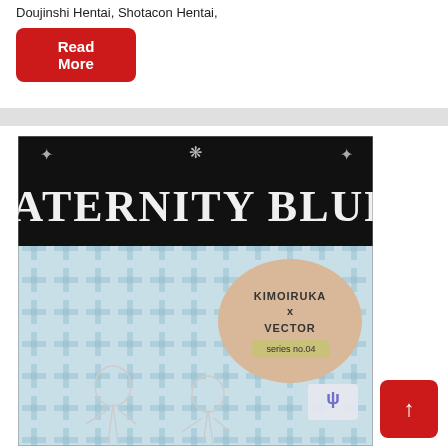Doujinshi Hentai, Shotacon Hentai,
Read More
[Figure (illustration): Book cover for 'Maternity Blues' - a doujinshi with black header area showing title 'MATERNITY BLUES' in large serif font, decorative ornaments, a heart-shaped label reading 'KIMOIRUKA x VECTOR series no.04', blue patterned background with cross/floral motifs, and two anime-style character sketches at the bottom. Publisher logo in bottom right corner.]